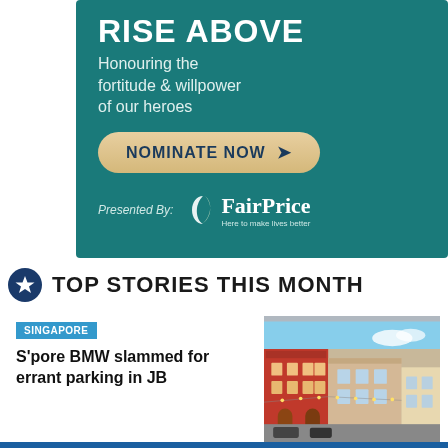[Figure (illustration): Advertisement banner with teal background for 'Rise Above' campaign. Text reads: 'Rise Above', 'Honouring the fortitude & willpower of our heroes', button 'NOMINATE NOW >', 'Presented By: FairPrice – Here to make lives better']
TOP STORIES THIS MONTH
SINGAPORE
S'pore BMW slammed for errant parking in JB
[Figure (photo): Street photo of colorful shophouse buildings, appears to be a heritage street in Johor Bahru or similar Southeast Asian city, with red and pink buildings and parked cars.]